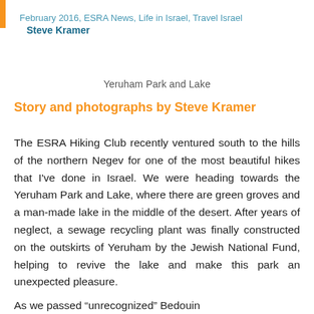February 2016, ESRA News, Life in Israel, Travel Israel
Steve Kramer
Yeruham Park and Lake
Story and photographs by Steve Kramer
The ESRA Hiking Club recently ventured south to the hills of the northern Negev for one of the most beautiful hikes that I've done in Israel. We were heading towards the Yeruham Park and Lake, where there are green groves and a man-made lake in the middle of the desert. After years of neglect, a sewage recycling plant was finally constructed on the outskirts of Yeruham by the Jewish National Fund, helping to revive the lake and make this park an unexpected pleasure.
As we passed "unrecognized" Bedouin